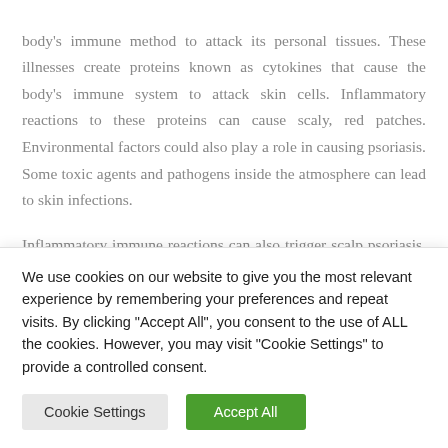body's immune method to attack its personal tissues. These illnesses create proteins known as cytokines that cause the body's immune system to attack skin cells. Inflammatory reactions to these proteins can cause scaly, red patches. Environmental factors could also play a role in causing psoriasis. Some toxic agents and pathogens inside the atmosphere can lead to skin infections.
Inflammatory immune reactions can also trigger scalp psoriasis. Even though psoriasis is usually genetic, it really
We use cookies on our website to give you the most relevant experience by remembering your preferences and repeat visits. By clicking "Accept All", you consent to the use of ALL the cookies. However, you may visit "Cookie Settings" to provide a controlled consent.